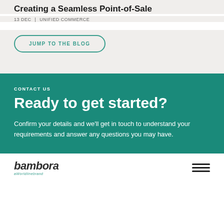Creating a Seamless Point-of-Sale
13 DEC | UNIFIED COMMERCE
JUMP TO THE BLOG
CONTACT US
Ready to get started?
Confirm your details and we'll get in touch to understand your requirements and answer any questions you may have.
[Figure (logo): Bambora logo with 'aWorldlinebrand' tagline]
[Figure (illustration): Hamburger menu icon with three horizontal lines]